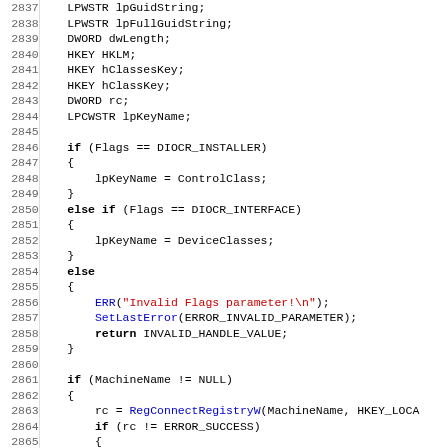Source code listing lines 2837-2868, C/C++ code with variable declarations and conditional logic for registry operations